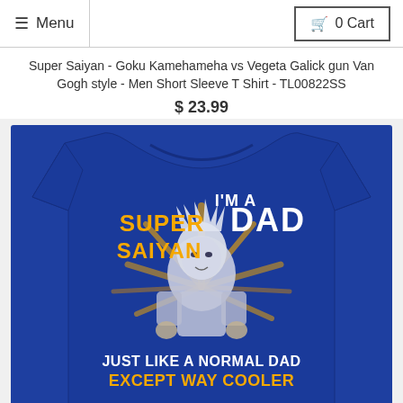Menu | 0 Cart
Super Saiyan - Goku Kamehameha vs Vegeta Galick gun Van Gogh style - Men Short Sleeve T Shirt - TL00822SS
$ 23.99
[Figure (photo): A blue men's short sleeve T-shirt featuring an anime character (Super Saiyan style) with text reading: I'M A SUPER SAIYAN DAD JUST LIKE A NORMAL DAD EXCEPT WAY COOLER, with orange and white graphic design elements]